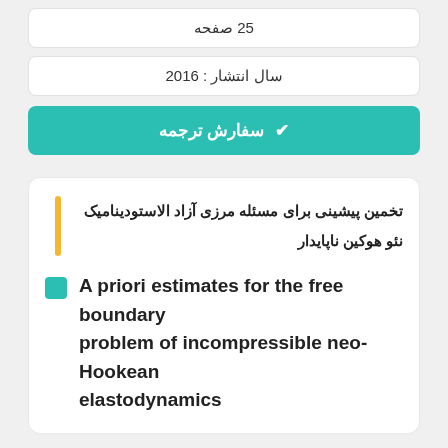25 صفحه
سال انتشار : 2016
✔ سفارش ترجمه
تخمین پیشینی برای مسئله مرزی آزاد الاستودینامیک نئو هوکین ناپایدار
A priori estimates for the free boundary problem of incompressible neo-Hookean elastodynamics